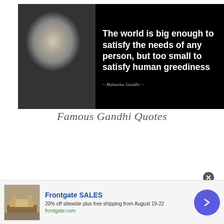[Figure (photo): Black and white photo of Mahatma Gandhi on left with bold white text quote on black background: 'The world is big enough to satisfy the needs of any person, but too small to satisfy human greediness' attributed to '~ Mahatma Gandhi ~']
Famous Gandhi Quotes
[Figure (photo): Black and white photo of Mahatma Gandhi with text 'Live as if you were to die tomorrow.' partially visible on dark background]
Frontgate SALES
20% off sitewide plus free shipping from August 19-22
frontgate.com